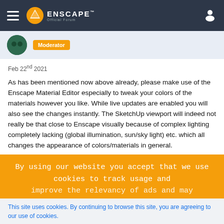Enscape Official Forum
Moderator
Feb 22nd 2021
As has been mentioned now above already, please make use of the Enscape Material Editor especially to tweak your colors of the materials however you like. While live updates are enabled you will also see the changes instantly. The SketchUp viewport will indeed not really be that close to Enscape visually because of complex lighting completely lacking (global illumination, sun/sky light) etc. which all changes the appearance of colors/materials in general.
By using our website you accept that we use cookies to track usage and improve the relevancy of ads and may
This site uses cookies. By continuing to browse this site, you are agreeing to our use of cookies.
More Details   Close